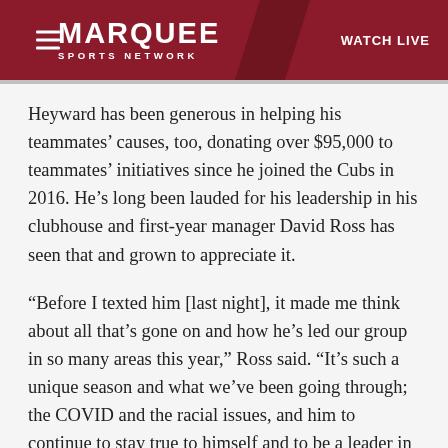MARQUEE SPORTS NETWORK | WATCH LIVE
Heyward has been generous in helping his teammates’ causes, too, donating over $95,000 to teammates’ initiatives since he joined the Cubs in 2016. He’s long been lauded for his leadership in his clubhouse and first-year manager David Ross has seen that and grown to appreciate it.
“Before I texted him [last night], it made me think about all that’s gone on and how he’s led our group in so many areas this year,” Ross said. “It’s such a unique season and what we’ve been going through; the COVID and the racial issues, and him to continue to stay true to himself and to be a leader in those areas has been really